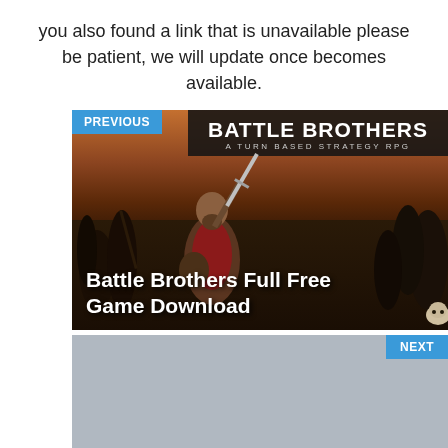you also found a link that is unavailable please be patient, we will update once becomes available.
[Figure (screenshot): Navigation card for 'Battle Brothers Full Free Game Download' with PREVIOUS label in blue, game artwork showing a warrior with sword and company logo 'BATTLE BROTHERS - A TURN BASED STRATEGY RPG']
[Figure (screenshot): Navigation card for 'Sorcerer King Free Game Full Download' with NEXT label in blue, gray placeholder image]